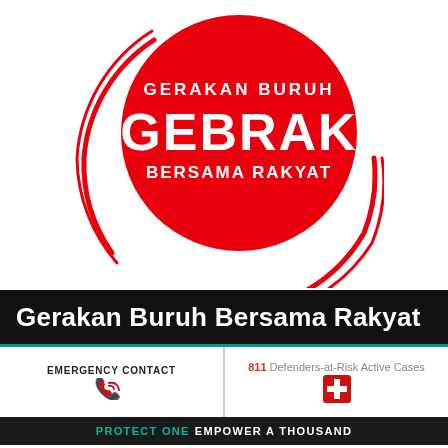[Figure (logo): GEBRAK (Gerakan Buruh Bersama Rakyat) logo: large red circle with white text 'GERAKAN BURUH' on top, 'GEBRAK' in large bold letters in center, 'BERSAMA RAKYAT' below, surrounded by red arc lines on white background]
Gerakan Buruh Bersama Rakyat
EMERGENCY CONTACT
811 Defenders-at-Risk Active Cases
PROTECT ONE EMPOWER A THOUSAND